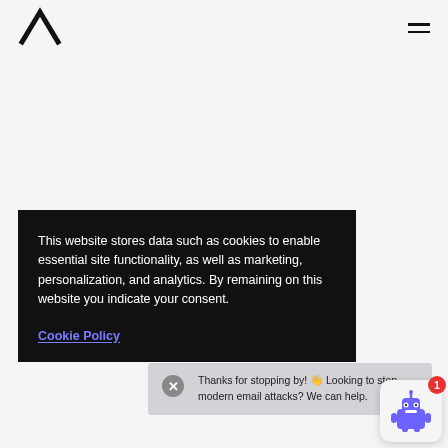[Figure (logo): Lambda/inverted V shaped logo mark in black]
[Figure (other): Hamburger menu icon (two horizontal lines) in top right]
This website stores data such as cookies to enable essential site functionality, as well as marketing, personalization, and analytics. By remaining on this website you indicate your consent.
Cookie Policy
Thanks for stopping by! 👋 Looking to stop modern email attacks? We can help.
[Figure (illustration): Purple robot/chatbot icon with notification badge showing 1]